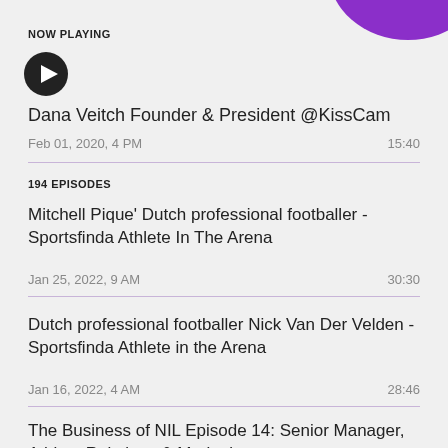[Figure (illustration): Purple arc/logo partially visible at top right corner]
NOW PLAYING
[Figure (other): Black circular play button icon]
Dana Veitch Founder & President @KissCam
Feb 01, 2020, 4 PM    15:40
194 EPISODES
Mitchell Pique' Dutch professional footballer - Sportsfinda Athlete In The Arena
Jan 25, 2022, 9 AM    30:30
Dutch professional footballer Nick Van Der Velden - Sportsfinda Athlete in the Arena
Jan 16, 2022, 4 AM    28:46
The Business of NIL Episode 14: Senior Manager, Athlete Relations & Marketing at